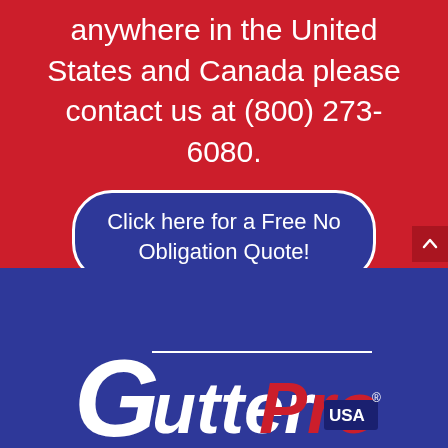anywhere in the United States and Canada please contact us at (800) 273-6080.
Click here for a Free No Obligation Quote!
[Figure (logo): GutterPro USA logo in white and red lettering on blue background]